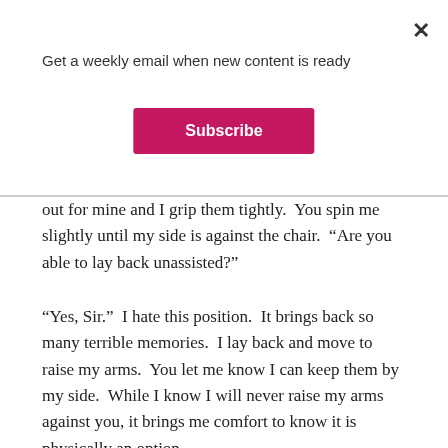Get a weekly email when new content is ready
out for mine and I grip them tightly.  You spin me slightly until my side is against the chair.  “Are you able to lay back unassisted?”
“Yes, Sir.”  I hate this position.  It brings back so many terrible memories.  I lay back and move to raise my arms.  You let me know I can keep them by my side.  While I know I will never raise my arms against you, it brings me comfort to know it is physically an option.
“I am going to massage your legs.  You will tell me if, at any time, it hurts.  Is that clear?”